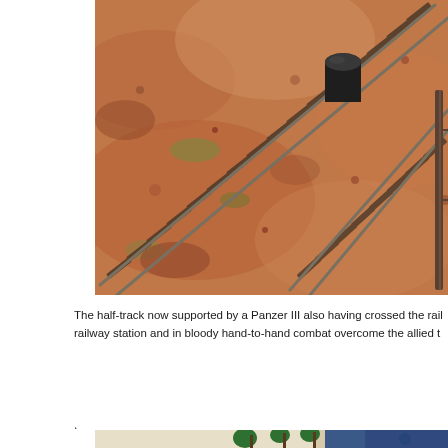[Figure (photo): Close-up photograph of a model railway/diorama scene showing train tracks running diagonally across reddish-brown sandy terrain, with a dark cylindrical object (barrel or container) visible in the upper right area. A fence post is visible at the right edge.]
The half-track now supported by a Panzer III also having crossed the railway station and in bloody hand-to-hand combat overcome the allied t
.
[Figure (photo): Partial view of a second photo showing model palm trees and a person wearing a blue sweatshirt in the background.]